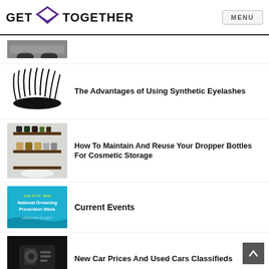GET TOGETHER | MENU
[Figure (photo): Partial thumbnail of a car/vehicle image at top]
[Figure (photo): Synthetic eyelashes product photo]
The Advantages of Using Synthetic Eyelashes
[Figure (photo): Kitchen wall-mounted spice/bottle rack with dropper bottles]
How To Maintain And Reuse Your Dropper Bottles For Cosmetic Storage
[Figure (photo): National Drowning Prevention Week event graphic, July 21-27 2019]
Current Events
[Figure (photo): Car tools/accessories on dark background]
New Car Prices And Used Cars Classifieds